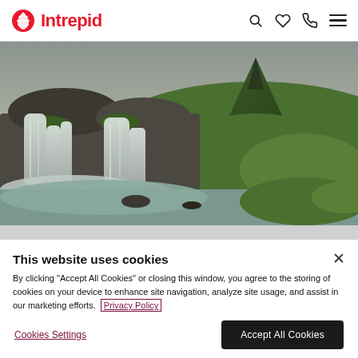Intrepid
[Figure (photo): Scenic Icelandic landscape with waterfalls cascading over rocky cliffs into a pool, lush green mossy hills, and a prominent conical mountain peak in the background under an overcast sky — Kirkjufell, Iceland.]
This website uses cookies
By clicking "Accept All Cookies" or closing this window, you agree to the storing of cookies on your device to enhance site navigation, analyze site usage, and assist in our marketing efforts.  Privacy Policy
Cookies Settings
Accept All Cookies